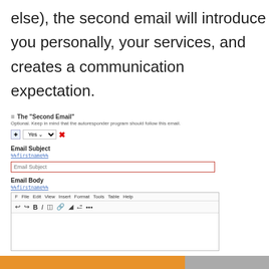else), the second email will introduce you personally, your services, and creates a communication expectation.
[Figure (screenshot): UI panel for configuring 'The Second Email' with fields for Email Subject (with %%firstname%% tag and red-bordered input), Email Body (with %%firstname%% tag and a rich text editor showing File/Edit/View/Insert/Format/Tools/Table/Help menubar and formatting toolbar), and Signature dropdown (General Default). Yes/No dropdown is selected with a red X. An orange and gray footer bar appears at the bottom.]